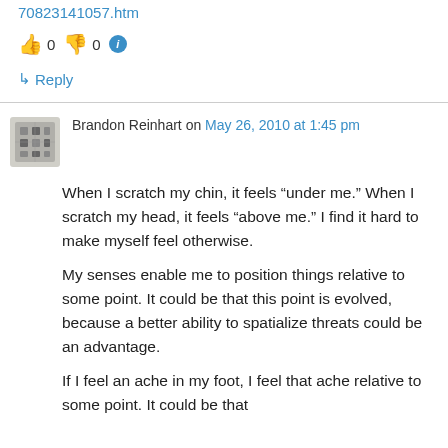70823141057.htm
👍 0 👎 0 ℹ
↳ Reply
Brandon Reinhart on May 26, 2010 at 1:45 pm
When I scratch my chin, it feels “under me.” When I scratch my head, it feels “above me.” I find it hard to make myself feel otherwise.
My senses enable me to position things relative to some point. It could be that this point is evolved, because a better ability to spatialize threats could be an advantage.
If I feel an ache in my foot, I feel that ache relative to some point. It could be that